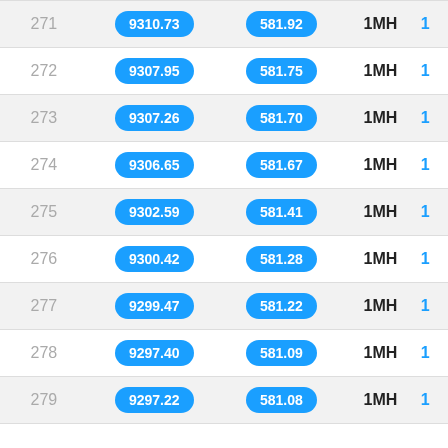| # | Value1 | Value2 | Type | Link |
| --- | --- | --- | --- | --- |
| 271 | 9310.73 | 581.92 | 1MH | 1 |
| 272 | 9307.95 | 581.75 | 1MH | 1 |
| 273 | 9307.26 | 581.70 | 1MH | 1 |
| 274 | 9306.65 | 581.67 | 1MH | 1 |
| 275 | 9302.59 | 581.41 | 1MH | 1 |
| 276 | 9300.42 | 581.28 | 1MH | 1 |
| 277 | 9299.47 | 581.22 | 1MH | 1 |
| 278 | 9297.40 | 581.09 | 1MH | 1 |
| 279 | 9297.22 | 581.08 | 1MH | 1 |